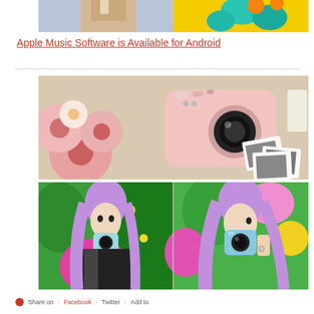[Figure (photo): Cropped top portion of two photos side by side: left shows a person in a tan/beige coat on a light blue background, right shows colorful flowers/objects on a bright yellow background]
Apple Music Software is Available for Android
[Figure (photo): Photo of a pink Fujifilm Instax Mini camera surrounded by pink gerbera daisies, with black and white instant photos scattered on a beige surface]
[Figure (photo): Two side-by-side photos of a young woman with long purple/pink hair holding a light blue Fujifilm Instax Mini camera, standing in front of colorful graffiti wall]